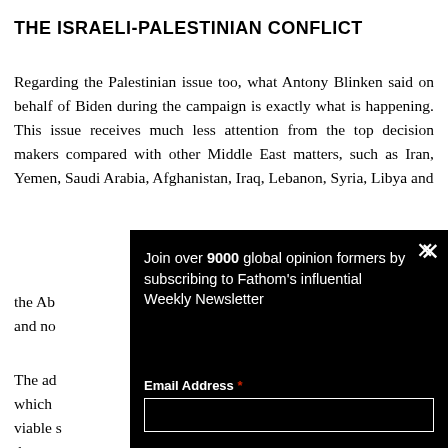THE ISRAELI-PALESTINIAN CONFLICT
Regarding the Palestinian issue too, what Antony Blinken said on behalf of Biden during the campaign is exactly what is happening. This issue receives much less attention from the top decision makers compared with other Middle East matters, such as Iran, Yemen, Saudi Arabia, Afghanistan, Iraq, Lebanon, Syria, Libya and the Ab[raham Accords] and no[t...] The ad[ministration...] which [considers a two-state solution] viable [solution...] that m[akes] attitud[es] empha[sizes] Palesti[nian] prospe[rity...]
[Figure (screenshot): Black popup overlay showing Facebook logo on left and newsletter subscription prompt on right. Text reads: Join over 9000 global opinion formers by subscribing to Fathom's influential Weekly Newsletter. Email Address field with asterisk. Close X button in top right corner.]